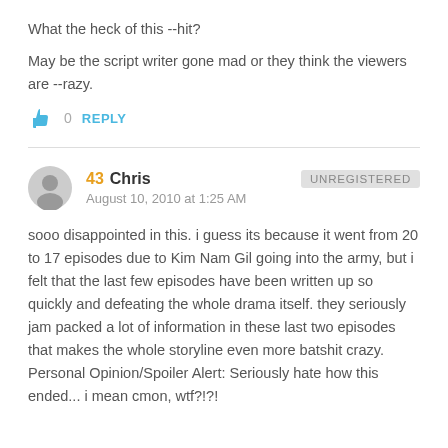What the heck of this --hit?
May be the script writer gone mad or they think the viewers are --razy.
0   REPLY
43  Chris   UNREGISTERED
August 10, 2010 at 1:25 AM
sooo disappointed in this. i guess its because it went from 20 to 17 episodes due to Kim Nam Gil going into the army, but i felt that the last few episodes have been written up so quickly and defeating the whole drama itself. they seriously jam packed a lot of information in these last two episodes that makes the whole storyline even more batshit crazy. Personal Opinion/Spoiler Alert: Seriously hate how this ended... i mean cmon, wtf?!?!